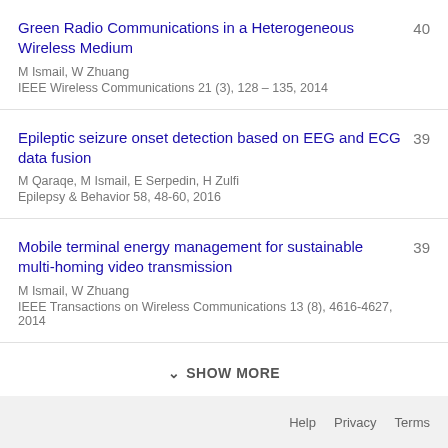Green Radio Communications in a Heterogeneous Wireless Medium
M Ismail, W Zhuang
IEEE Wireless Communications 21 (3), 128 – 135, 2014
40
Epileptic seizure onset detection based on EEG and ECG data fusion
M Qaraqe, M Ismail, E Serpedin, H Zulfi
Epilepsy & Behavior 58, 48-60, 2016
39
Mobile terminal energy management for sustainable multi-homing video transmission
M Ismail, W Zhuang
IEEE Transactions on Wireless Communications 13 (8), 4616-4627, 2014
39
SHOW MORE
Help  Privacy  Terms